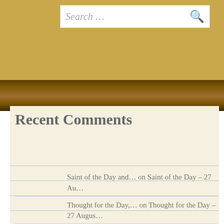Search ...
Recent Comments
Saint of the Day and… on Saint of the Day – 27 Au…
Thought for the Day,… on Thought for the Day – 27 Augus…
Our Morning Offering… on Our Morning Offering – 27 Augu…
Thought for the Day… on Thought for the Day – 27 Febru…
Quote/s of the Day –… on Quote/s of the Day – 25…